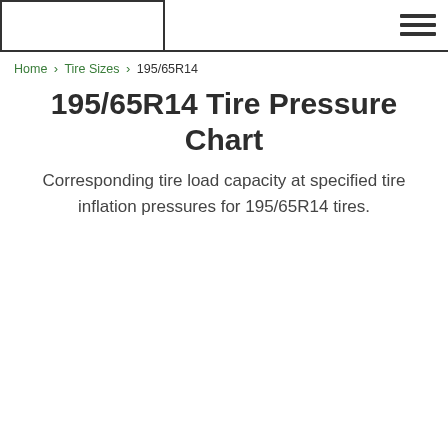195/65R14 Tire Pressure Chart [logo area] [hamburger menu]
Home › Tire Sizes › 195/65R14
195/65R14 Tire Pressure Chart
Corresponding tire load capacity at specified tire inflation pressures for 195/65R14 tires.